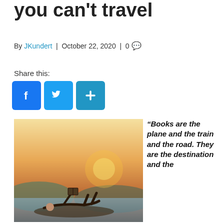you can't travel
By JKundert | October 22, 2020 | 0 💬
Share this:
[Figure (other): Social share buttons: Facebook, Twitter, and a plus button]
[Figure (photo): Person lying outdoors reading a book with arms raised, warm sunset light near a lake]
"Books are the plane and the train and the road. They are the destination and the